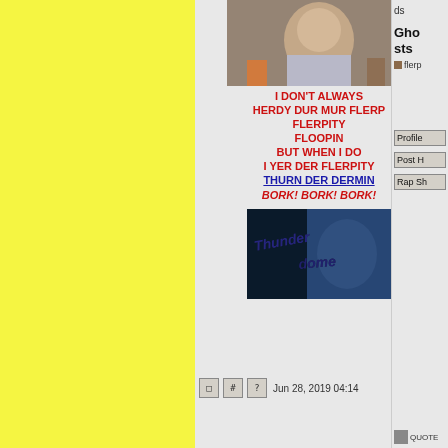[Figure (photo): Photo of a baby/toddler dressed in costume with Halloween decorations in background]
I DON'T ALWAYS HERDY DUR MUR FLERP FLERPITY FLOOPIN BUT WHEN I DO I YER DER FLERPITY THURN DER DERMIN BORK! BORK! BORK!
[Figure (photo): Thunderdome movie title logo image with dark blue background]
Jun 28, 2019 04:14
ds
Ghosts
flerp
Profile
Post H
Rap Sh
QUOTE